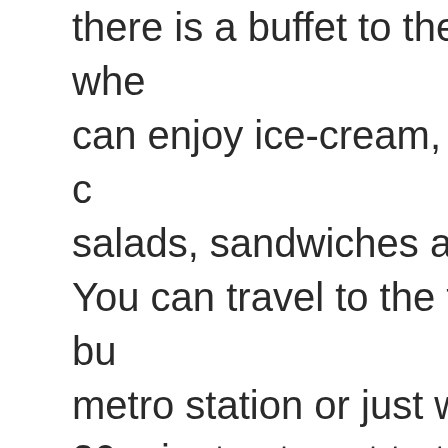there is a buffet to the left of it whe can enjoy ice-cream, a variety of salads, sandwiches and drinks. You can travel to the theatre by bu metro station or just walk (it will ta 20 minutes to get to the theatre fr metro). The Golden Ring Musical Ensemb known in Russia, the post-Soviet c